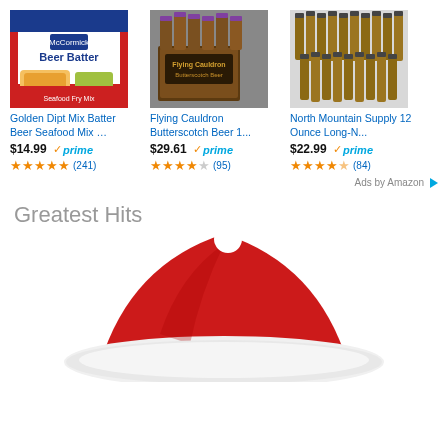[Figure (photo): Golden Dipt Mix Batter Beer Seafood Mix product box (red and blue packaging with fried fish)]
Golden Dipt Mix Batter Beer Seafood Mix …
$14.99 ✓prime ★★★★★ (241)
[Figure (photo): Flying Cauldron Butterscotch Beer 12-pack bottles in box]
Flying Cauldron Butterscotch Beer 1...
$29.61 ✓prime ★★★★☆ (95)
[Figure (photo): North Mountain Supply 12 Ounce Long-Neck beer bottles arranged in rows]
North Mountain Supply 12 Ounce Long-N...
$22.99 ✓prime ★★★★½ (84)
Ads by Amazon ▷
Greatest Hits
[Figure (photo): Santa hat red and white, partially visible at bottom of page]